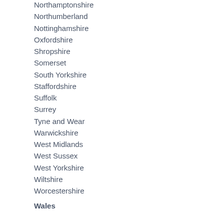Northamptonshire
Northumberland
Nottinghamshire
Oxfordshire
Shropshire
Somerset
South Yorkshire
Staffordshire
Suffolk
Surrey
Tyne and Wear
Warwickshire
West Midlands
West Sussex
West Yorkshire
Wiltshire
Worcestershire
Wales